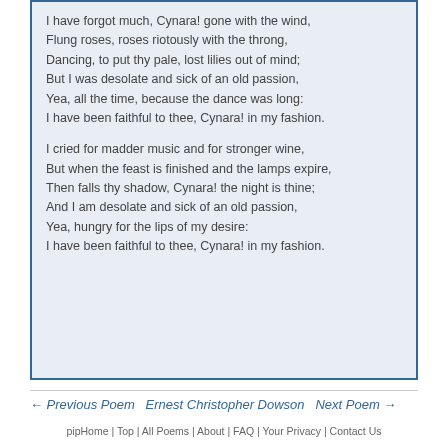I have forgot much, Cynara! gone with the wind,
Flung roses, roses riotously with the throng,
Dancing, to put thy pale, lost lilies out of mind;
But I was desolate and sick of an old passion,
Yea, all the time, because the dance was long:
I have been faithful to thee, Cynara! in my fashion.

I cried for madder music and for stronger wine,
But when the feast is finished and the lamps expire,
Then falls thy shadow, Cynara! the night is thine;
And I am desolate and sick of an old passion,
Yea, hungry for the lips of my desire:
I have been faithful to thee, Cynara! in my fashion.
← Previous Poem   Ernest Christopher Dowson   Next Poem →
pipHome | Top | All Poems | About | FAQ | Your Privacy | Contact Us